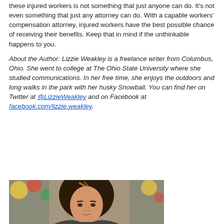these injured workers is not something that just anyone can do. It's not even something that just any attorney can do. With a capable workers' compensation attorney, injured workers have the best possible chance of receiving their benefits. Keep that in mind if the unthinkable happens to you.
About the Author: Lizzie Weakley is a freelance writer from Columbus, Ohio. She went to college at The Ohio State University where she studied communications. In her free time, she enjoys the outdoors and long walks in the park with her husky Snowball. You can find her on Twitter at @LizzieWeakley and on Facebook at facebook.com/lizzie.weakley.
[Figure (photo): Portrait photo of a young woman with long dark hair with highlights, looking at the camera, colorful background visible.]